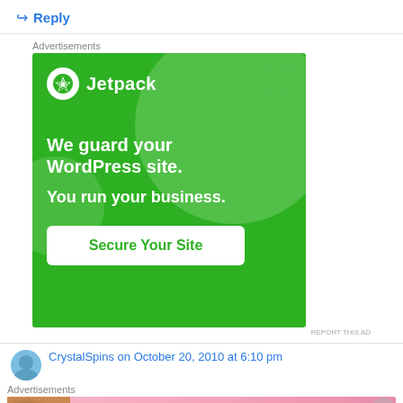↪ Reply
Advertisements
[Figure (illustration): Jetpack advertisement banner on green background. Shows Jetpack logo with lightning bolt icon, text 'We guard your WordPress site. You run your business.' and a 'Secure Your Site' button.]
REPORT THIS AD
CrystalSpins on October 20, 2010 at 6:10 pm
Advertisements
[Figure (illustration): Victoria's Secret advertisement banner on pink background showing a model, Victoria's Secret logo, 'SHOP THE COLLECTION' text, and 'SHOP NOW' button.]
REPORT THIS AD